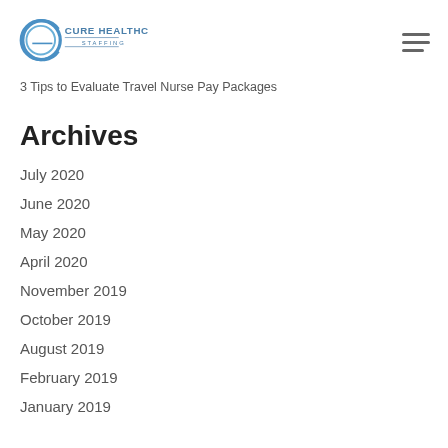Cure Healthcare Staffing
3 Tips to Evaluate Travel Nurse Pay Packages
Archives
July 2020
June 2020
May 2020
April 2020
November 2019
October 2019
August 2019
February 2019
January 2019